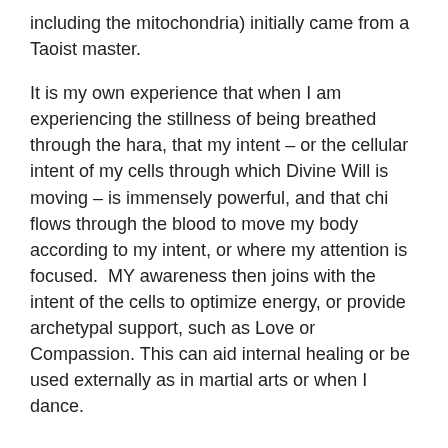including the mitochondria) initially came from a Taoist master.
It is my own experience that when I am experiencing the stillness of being breathed through the hara, that my intent – or the cellular intent of my cells through which Divine Will is moving – is immensely powerful, and that chi flows through the blood to move my body according to my intent, or where my attention is focused.  MY awareness then joins with the intent of the cells to optimize energy, or provide archetypal support, such as Love or Compassion. This can aid internal healing or be used externally as in martial arts or when I dance.
The Body as Temple
I am attempting to create a down to earth, embodied